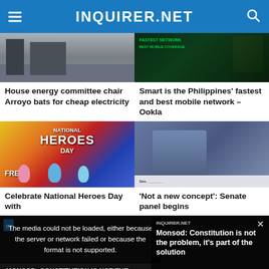INQUIRER.NET
[Figure (photo): Photo of road scene with people in high-visibility vests]
House energy committee chair Arroyo bats for cheap electricity
[Figure (photo): Advertisement for Smart mobile network - dark green themed]
Smart is the Philippines' fastest and best mobile network – Ookla
[Figure (photo): National Heroes Day promotional image with cartoon characters]
Celebrate National Heroes Day with
[Figure (photo): Photo of senator at hearing gesturing with fist]
'Not a new concept': Senate panel begins
[Figure (screenshot): Video overlay with error message and Monsod Constitution article]
Monsod: Constitution is not the problem, it's part of the solution
The media could not be loaded, either because the server or network failed or because the format is not supported.
MONSOD: CONSTITUTION IS NOT THE PROBLEM, IT'S PART OF THE SOLUTION